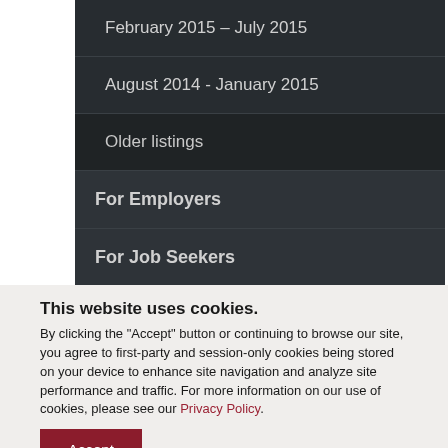February 2015 – July 2015
August 2014 - January 2015
Older listings
For Employers
For Job Seekers
This website uses cookies. By clicking the "Accept" button or continuing to browse our site, you agree to first-party and session-only cookies being stored on your device to enhance site navigation and analyze site performance and traffic. For more information on our use of cookies, please see our Privacy Policy.
Accept